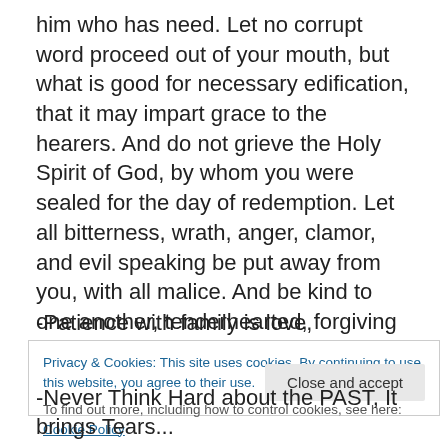him who has need. Let no corrupt word proceed out of your mouth, but what is good for necessary edification, that it may impart grace to the hearers. And do not grieve the Holy Spirit of God, by whom you were sealed for the day of redemption. Let all bitterness, wrath, anger, clamor, and evil speaking be put away from you, with all malice. And be kind to one another, tenderhearted, forgiving one another, even as God in Christ forgave you". [Ephesians 4:26-32]
-Patience with family is love,
Privacy & Cookies: This site uses cookies. By continuing to use this website, you agree to their use.
To find out more, including how to control cookies, see here: Cookie Policy
-Never Think Hard about the PAST, It brings Tears...